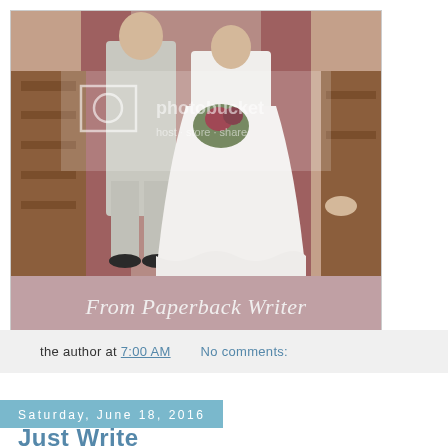[Figure (photo): Vintage wedding photo showing a bride in a white dress with ruffled hem holding a bouquet, being escorted down the aisle. A watermark reading 'photobucket host store share' is overlaid on the image. Below the photo is a pinkish-mauve banner with the text 'From Paperback Writer' in white serif italic font.]
the author at 7:00 AM    No comments:
Saturday, June 18, 2016
Just Write